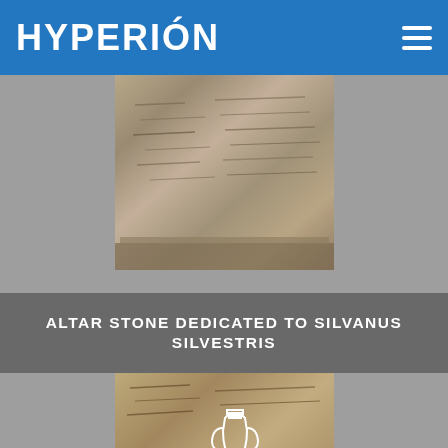HYPERIÓN
[Figure (photo): Stone altar with ancient inscriptions, photographed in color, showing carved text on a rough stone surface with a visible base.]
ALTAR STONE DEDICATED TO SILVANUS SILVESTRIS
[Figure (photo): Stone altar with ancient inscriptions, photographed in sepia/black-and-white, with an amphora/vessel icon overlay at the bottom center.]